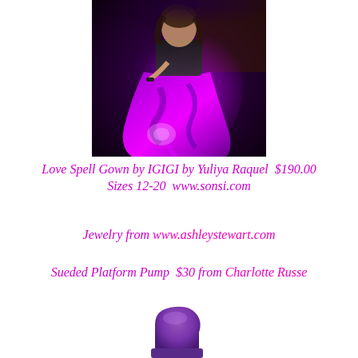[Figure (photo): A woman wearing a flowing purple and black gown with swirling abstract patterns, holding the skirt outward. The dress is vibrant magenta-purple with floral/abstract designs.]
Love Spell Gown by IGIGI by Yuliya Raquel  $190.00
Sizes 12-20  www.sonsi.com
Jewelry from www.ashleystewart.com
Sueded Platform Pump  $30 from Charlotte Russe
[Figure (photo): A purple suede platform pump shoe, partially visible at the bottom of the page.]